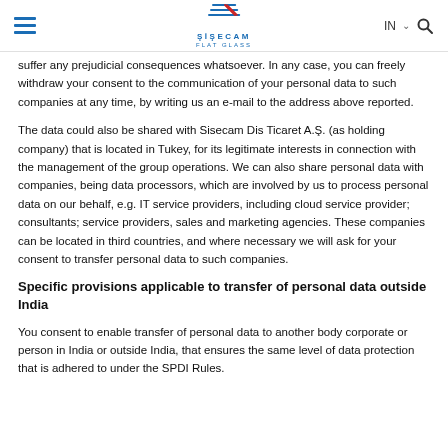Şişecam Flat Glass — IN — Navigation header
suffer any prejudicial consequences whatsoever. In any case, you can freely withdraw your consent to the communication of your personal data to such companies at any time, by writing us an e-mail to the address above reported.
The data could also be shared with Sisecam Dis Ticaret A.Ş. (as holding company) that is located in Tukey, for its legitimate interests in connection with the management of the group operations. We can also share personal data with companies, being data processors, which are involved by us to process personal data on our behalf, e.g. IT service providers, including cloud service provider; consultants; service providers, sales and marketing agencies. These companies can be located in third countries, and where necessary we will ask for your consent to transfer personal data to such companies.
Specific provisions applicable to transfer of personal data outside India
You consent to enable transfer of personal data to another body corporate or person in India or outside India, that ensures the same level of data protection that is adhered to under the SPDI Rules.